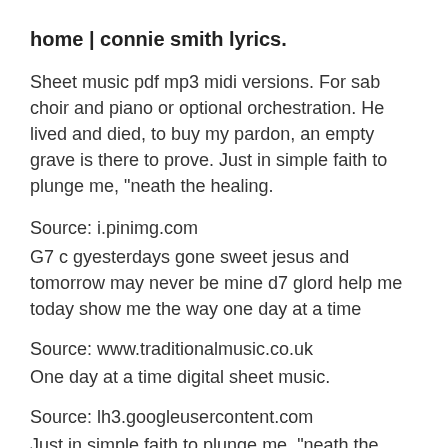home | connie smith lyrics.
Sheet music pdf mp3 midi versions. For sab choir and piano or optional orchestration. He lived and died, to buy my pardon, an empty grave is there to prove. Just in simple faith to plunge me, "neath the healing.
Source: i.pinimg.com
G7 c gyesterdays gone sweet jesus and tomorrow may never be mine d7 glord help me today show me the way one day at a time
Source: www.traditionalmusic.co.uk
One day at a time digital sheet music.
Source: lh3.googleusercontent.com
Just in simple faith to plunge me, "neath the healing.
Source: breadsite.org